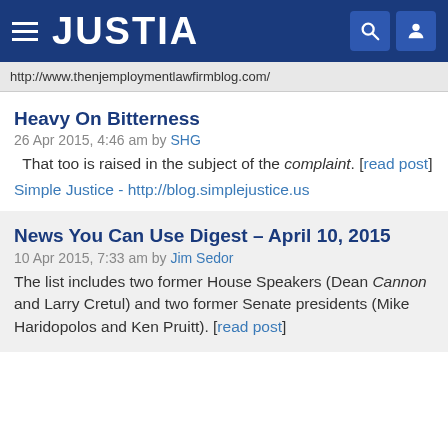JUSTIA
http://www.thenjemploymentlawfirmblog.com/
Heavy On Bitterness
26 Apr 2015, 4:46 am by SHG
That too is raised in the subject of the complaint. [read post]
Simple Justice - http://blog.simplejustice.us
News You Can Use Digest – April 10, 2015
10 Apr 2015, 7:33 am by Jim Sedor
The list includes two former House Speakers (Dean Cannon and Larry Cretul) and two former Senate presidents (Mike Haridopolos and Ken Pruitt). [read post]